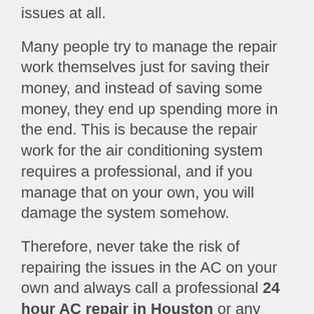issues at all.
Many people try to manage the repair work themselves just for saving their money, and instead of saving some money, they end up spending more in the end. This is because the repair work for the air conditioning system requires a professional, and if you manage that on your own, you will damage the system somehow.
Therefore, never take the risk of repairing the issues in the AC on your own and always call a professional 24 hour AC repair in Houston or any other place you want. The repair experts have years